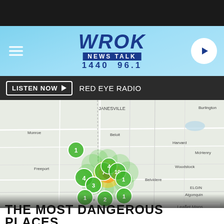[Figure (screenshot): WROK News Talk 1440 96.1 radio station website header with hamburger menu, logo, and play button on a light blue background]
LISTEN NOW ▶   RED EYE RADIO
[Figure (map): Leaflet map showing the Rockford, Illinois area with a heat map cluster of incident markers concentrated around Rockford, showing numbered green circle markers (1, 1, 4, 1, 2, 3, 1) and a red/orange/yellow heat concentration at the center. City labels include Janesville, Burlington, Monroe, Beloit, Harvard, McHenry, Freeport, Woodstock, Belvidere, Oregon, Algonquin, Elgin. Attribution: Leaflet Maps]
THE MOST DANGEROUS PLACES